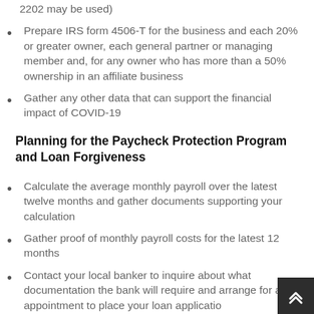2202 may be used)
Prepare IRS form 4506-T for the business and each 20% or greater owner, each general partner or managing member and, for any owner who has more than a 50% ownership in an affiliate business
Gather any other data that can support the financial impact of COVID-19
Planning for the Paycheck Protection Program and Loan Forgiveness
Calculate the average monthly payroll over the latest twelve months and gather documents supporting your calculation
Gather proof of monthly payroll costs for the latest 12 months
Contact your local banker to inquire about what documentation the bank will require and arrange for an appointment to place your loan application
Gather your tax returns and/or financial